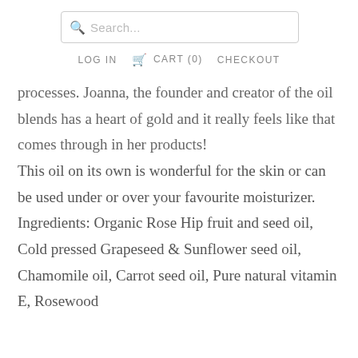Search... | LOG IN  CART (0)  CHECKOUT
processes. Joanna, the founder and creator of the oil blends has a heart of gold and it really feels like that comes through in her products!
This oil on its own is wonderful for the skin or can be used under or over your favourite moisturizer.
Ingredients: Organic Rose Hip fruit and seed oil, Cold pressed Grapeseed & Sunflower seed oil, Chamomile oil, Carrot seed oil, Pure natural vitamin E, Rosewood